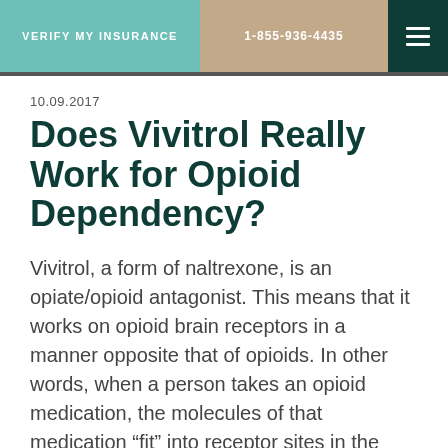VERIFY MY INSURANCE | 1-855-936-4435
10.09.2017
Does Vivitrol Really Work for Opioid Dependency?
Vivitrol, a form of naltrexone, is an opiate/opioid antagonist. This means that it works on opioid brain receptors in a manner opposite that of opioids. In other words, when a person takes an opioid medication, the molecules of that medication “fit” into receptor sites in the